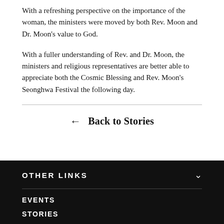With a refreshing perspective on the importance of the woman, the ministers were moved by both Rev. Moon and Dr. Moon's value to God.
With a fuller understanding of Rev. and Dr. Moon, the ministers and religious representatives are better able to appreciate both the Cosmic Blessing and Rev. Moon's Seonghwa Festival the following day.
← Back to Stories
OTHER LINKS
EVENTS
STORIES